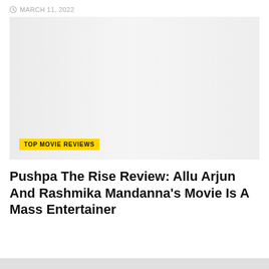MARCH 11, 2022
[Figure (photo): Large light gray placeholder image area representing a movie still or promotional image for Pushpa The Rise]
TOP MOVIE REVIEWS
Pushpa The Rise Review: Allu Arjun And Rashmika Mandanna's Movie Is A Mass Entertainer